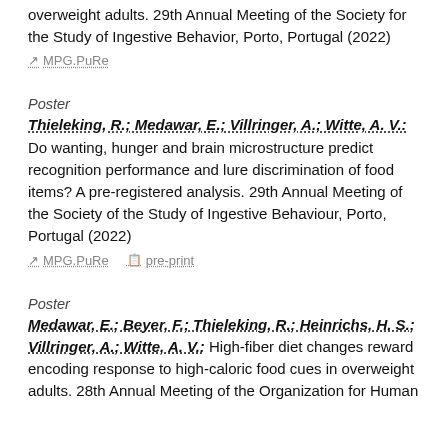overweight adults. 29th Annual Meeting of the Society for the Study of Ingestive Behavior, Porto, Portugal (2022)
MPG.PuRe
Poster
Thieleking, R.; Medawar, E.; Villringer, A.; Witte, A. V.: Do wanting, hunger and brain microstructure predict recognition performance and lure discrimination of food items? A pre-registered analysis. 29th Annual Meeting of the Society of the Study of Ingestive Behaviour, Porto, Portugal (2022)
MPG.PuRe   pre-print
Poster
Medawar, E.; Beyer, F.; Thieleking, R.; Heinrichs, H. S.; Villringer, A.; Witte, A. V.: High-fiber diet changes reward encoding response to high-caloric food cues in overweight adults. 28th Annual Meeting of the Organization for Human